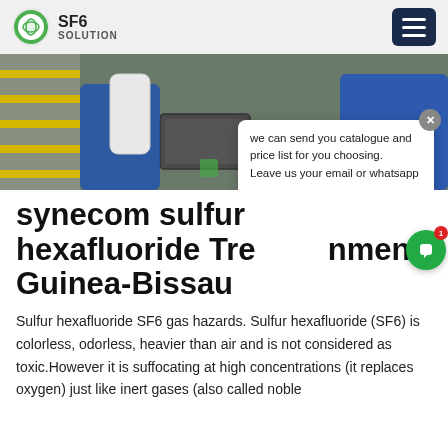SF6 SOLUTION
[Figure (photo): Industrial facility workers handling SF6 gas equipment, with yellow hazard-striped surfaces visible and workers in blue uniforms.]
synecom sulfur hexafluoride Treatment Guinea-Bissau
Sulfur hexafluoride SF6 gas hazards. Sulfur hexafluoride (SF6) is colorless, odorless, heavier than air and is not considered as toxic.However it is suffocating at high concentrations (it replaces oxygen) just like inert gases (also called noble gases). Sulfur hexafluoride has several...